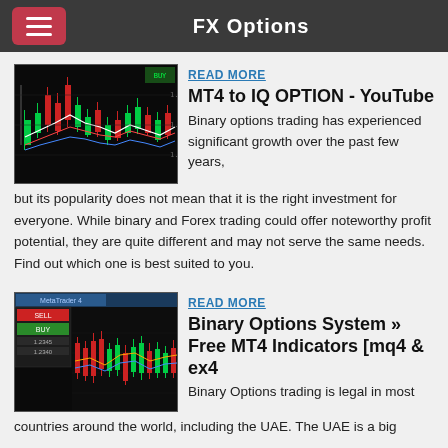FX Options
[Figure (screenshot): Trading chart screenshot showing candlestick chart with red and green candles on dark background]
READ MORE
MT4 to IQ OPTION - YouTube
Binary options trading has experienced significant growth over the past few years, but its popularity does not mean that it is the right investment for everyone. While binary and Forex trading could offer noteworthy profit potential, they are quite different and may not serve the same needs. Find out which one is best suited to you.
[Figure (screenshot): Trading platform screenshot showing MT4 interface with candlestick chart and trading panel]
READ MORE
Binary Options System » Free MT4 Indicators [mq4 & ex4
Binary Options trading is legal in most countries around the world, including the UAE. The UAE is a big